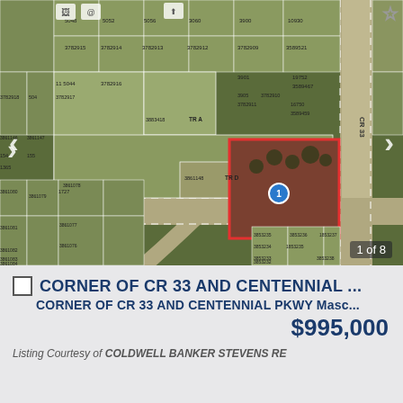[Figure (map): Aerial/satellite parcel map showing the corner of CR 33 and Centennial Pkwy in Mascotte area. Parcel numbers visible including 3861148, 3782915, 3782914, 3782912, 3782909, 3782910, 3782911, 3783418, 3861146, 3861147, 3861078, 3861079, 3861077, 3861080, 3861081, 3861082, 3861083, 3861084, 3861076, 3589521, 3589467, 3589459, 3853237, 3853236, 3853235, 3853234, 3853233, 3853232, 3853238 and others. A red-outlined square parcel is highlighted near the center-right of the map, with a blue circle marker labeled '1'. Navigation arrows on left and right sides. '1 of 8' counter at bottom right.]
CORNER OF CR 33 AND CENTENNIAL ...
CORNER OF CR 33 AND CENTENNIAL PKWY Masc...
$995,000
Listing Courtesy of COLDWELL BANKER STEVENS RE